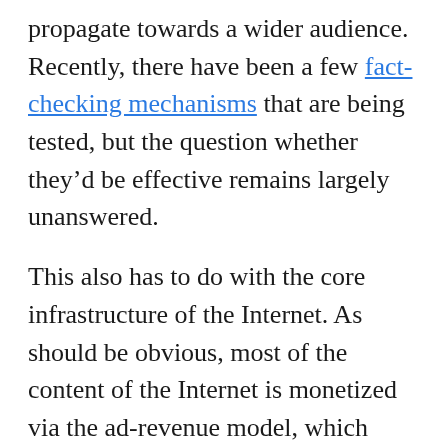propagate towards a wider audience. Recently, there have been a few fact-checking mechanisms that are being tested, but the question whether they'd be effective remains largely unanswered.
This also has to do with the core infrastructure of the Internet. As should be obvious, most of the content of the Internet is monetized via the ad-revenue model, which often ends up using one's personal data for targeted ads. Again, those who want to spend biased 'information' can do so on social media by using this personal data. Indeed, there is no incentive for verifying information enforced on most of the content